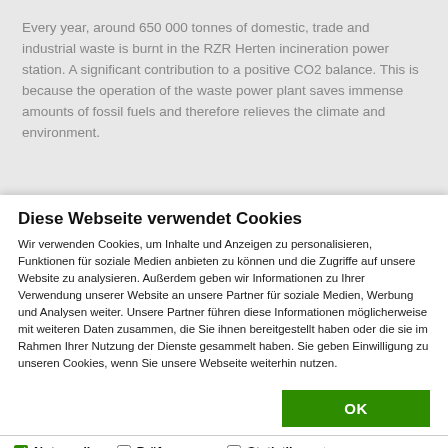Every year, around 650 000 tonnes of domestic, trade and industrial waste is burnt in the RZR Herten incineration power station. A significant contribution to a positive CO2 balance. This is because the operation of the waste power plant saves immense amounts of fossil fuels and therefore relieves the climate and environment.
Diese Webseite verwendet Cookies
Wir verwenden Cookies, um Inhalte und Anzeigen zu personalisieren, Funktionen für soziale Medien anbieten zu können und die Zugriffe auf unsere Website zu analysieren. Außerdem geben wir Informationen zu Ihrer Verwendung unserer Website an unsere Partner für soziale Medien, Werbung und Analysen weiter. Unsere Partner führen diese Informationen möglicherweise mit weiteren Daten zusammen, die Sie ihnen bereitgestellt haben oder die sie im Rahmen Ihrer Nutzung der Dienste gesammelt haben. Sie geben Einwilligung zu unseren Cookies, wenn Sie unsere Webseite weiterhin nutzen.